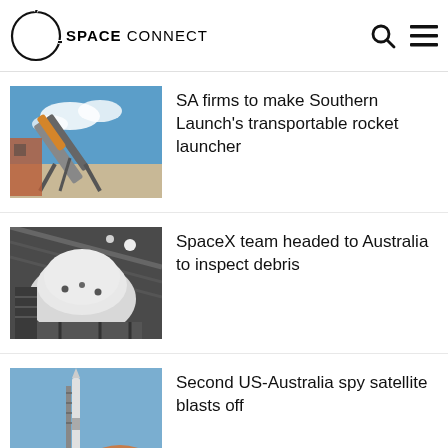SPACE CONNECT
[Figure (photo): Transportable rocket launcher on a platform outdoors under blue sky]
SA firms to make Southern Launch's transportable rocket launcher
[Figure (photo): SpaceX capsule nose cone inside a building, close-up view]
SpaceX team headed to Australia to inspect debris
[Figure (photo): Rocket on launch pad with a person's head partially visible in the foreground]
Second US-Australia spy satellite blasts off